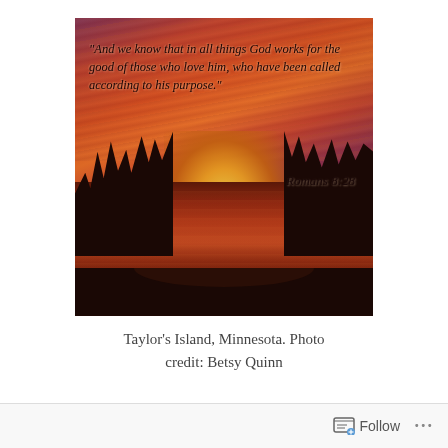[Figure (photo): Sunset photo of a lake with silhouetted trees on both sides, red and orange sky reflected in calm water. Overlaid with italic Bible verse text: "And we know that in all things God works for the good of those who love him, who have been called according to his purpose." Romans 8:28]
Taylor's Island, Minnesota. Photo credit: Betsy Quinn